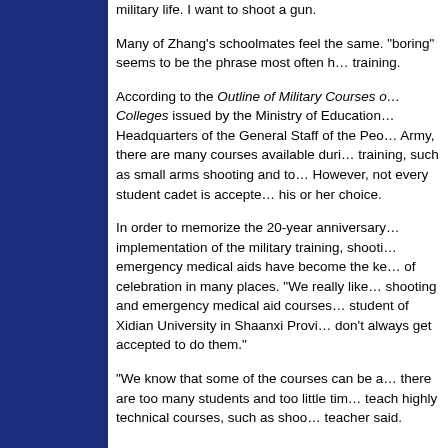military life. I want to shoot a gun.
Many of Zhang's schoolmates feel the same. "boring" seems to be the phrase most often heard about military training.
According to the Outline of Military Courses of Colleges issued by the Ministry of Education and the Headquarters of the General Staff of the People's Liberation Army, there are many courses available during military training, such as small arms shooting and topography. However, not every student cadet is accepted to do his or her choice.
In order to memorize the 20-year anniversary of the implementation of the military training, shooting and emergency medical aids have become the key courses of celebration in many places. "We really like the shooting and emergency medical aid courses," said a student of Xidian University in Shaanxi Province, "but we don't always get accepted to do them."
"We know that some of the courses can be attractive, but there are too many students and too little time for us to teach highly technical courses, such as shooting," a teacher said.